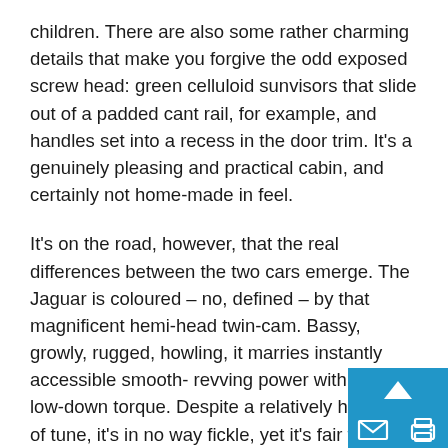children. There are also some rather charming details that make you forgive the odd exposed screw head: green celluloid sunvisors that slide out of a padded cant rail, for example, and handles set into a recess in the door trim. It's a genuinely pleasing and practical cabin, and certainly not home-made in feel.
It's on the road, however, that the real differences between the two cars emerge. The Jaguar is coloured – no, defined – by that magnificent hemi-head twin-cam. Bassy, growly, rugged, howling, it marries instantly accessible smooth- revving power with hefty low-down torque. Despite a relatively high level of tune, it's in no way fickle, yet it's fair to say that it's not at its best trickling through Surrey rush-hour traffic.
If you want to cut-and-thrust, the XK will rise to the occasion, equally, you can just keep it in fourth and drop in and out of